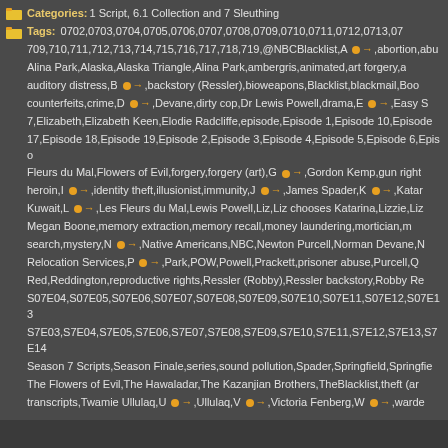Categories: 1 Script, 6.1 Collection and 7 Sleuthing
Tags: 0702,0703,0704,0705,0706,0707,0708,0709,0710,0711,0712,0713,0714,0715,0716,0717,0718,0719,@NBCBlacklist,A,abortion,abu...,Alina Park,Alaska,Alaska Triangle,Alina Park,ambergris,animated,art forgery,a...,auditory distress,B,backstory (Ressler),bioweapons,Blacklist,blackmail,Boo...,counterfeits,crime,D,Devane,dirty cop,Dr Lewis Powell,drama,E,Easy S...7,Elizabeth,Elizabeth Keen,Elodie Radcliffe,episode,Episode 1,Episode 10,Episode...17,Episode 18,Episode 19,Episode 2,Episode 3,Episode 4,Episode 5,Episode 6,Episo...,Fleurs du Mal,Flowers of Evil,forgery,forgery (art),G,Gordon Kemp,gun right...,heroin,I,identity theft,illusionist,immunity,J,James Spader,K,Katar...,Kuwait,L,Les Fleurs du Mal,Lewis Powell,Liz,Liz chooses Katarina,Lizzie,Liz...,Megan Boone,memory extraction,memory recall,money laundering,mortician,m...,search,mystery,N,Native Americans,NBC,Newton Purcell,Norman Devane,N...,Relocation Services,P,Park,POW,Powell,Prackett,prisoner abuse,Purcell,Q...,Red,Reddington,reproductive rights,Ressler (Robby),Ressler backstory,Robby Re...,S07E04,S07E05,S07E06,S07E07,S07E08,S07E09,S07E10,S07E11,S07E12,S07E13...,S7E03,S7E04,S7E05,S7E06,S7E07,S7E08,S7E09,S7E10,S7E11,S7E12,S7E13,S7E14...,Season 7 Scripts,Season Finale,series,sound pollution,Spader,Springfield,Springfie...,The Flowers of Evil,The Hawaladar,The Kazanjian Brothers,TheBlacklist,theft (ar...,transcripts,Twamie Ullulaq,U,Ullulaq,V,Victoria Fenberg,W,warde...
easy-search season 7 scripts
Permalink: https://wp.me/pDKwi-9MZ
NBC's series The Blacklist created by: l...